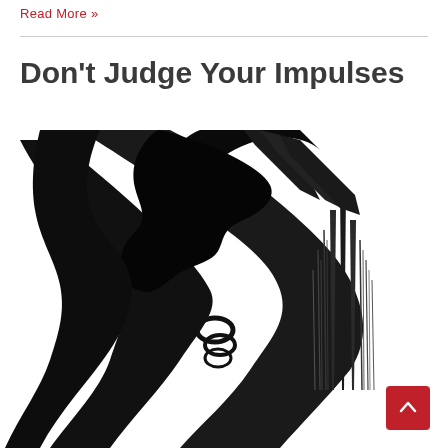Read More »
Don't Judge Your Impulses
[Figure (illustration): Black and white abstract brush stroke artwork showing bold, gestural marks — a large dark sweeping brushstroke shape on the left and a spiked, architectural needle-like form on the right, against a white background.]